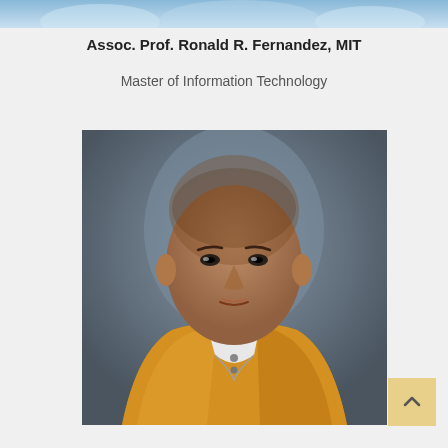[Figure (photo): Top banner image with light blue background, partial view of a person in academic or formal attire]
Assoc. Prof. Ronald R. Fernandez, MIT
Master of Information Technology
[Figure (photo): Portrait photo of Assoc. Prof. Ronald R. Fernandez wearing a golden/yellow barong or formal suit with a white collar, against a grey studio background. He has a shaved head and is facing the camera directly.]